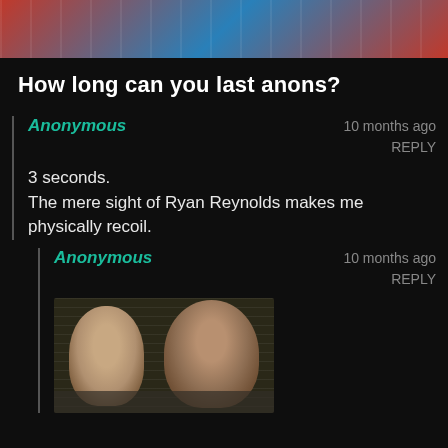[Figure (photo): Partial image at top of page showing red and blue colors, likely flags]
How long can you last anons?
Anonymous
10 months ago
REPLY
3 seconds.
The mere sight of Ryan Reynolds makes me physically recoil.
Anonymous
10 months ago
REPLY
[Figure (photo): Photo of two people, partially visible, a man and a woman]